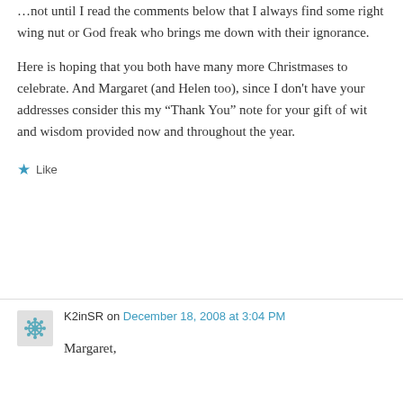You ladies always bring a smile to my face, but not until I read the comments below that I always find some right wing nut or God freak who brings me down with their ignorance.
Here is hoping that you both have many more Christmases to celebrate. And Margaret (and Helen too), since I don't have your addresses consider this my “Thank You” note for your gift of wit and wisdom provided now and throughout the year.
Like
K2inSR on December 18, 2008 at 3:04 PM
Margaret,